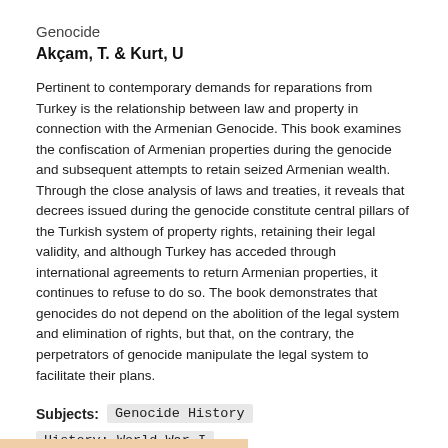Genocide
Akçam, T. & Kurt, U
Pertinent to contemporary demands for reparations from Turkey is the relationship between law and property in connection with the Armenian Genocide. This book examines the confiscation of Armenian properties during the genocide and subsequent attempts to retain seized Armenian wealth. Through the close analysis of laws and treaties, it reveals that decrees issued during the genocide constitute central pillars of the Turkish system of property rights, retaining their legal validity, and although Turkey has acceded through international agreements to return Armenian properties, it continues to refuse to do so. The book demonstrates that genocides do not depend on the abolition of the legal system and elimination of rights, but that, on the contrary, the perpetrators of genocide manipulate the legal system to facilitate their plans.
Subjects: Genocide History  History: World War I